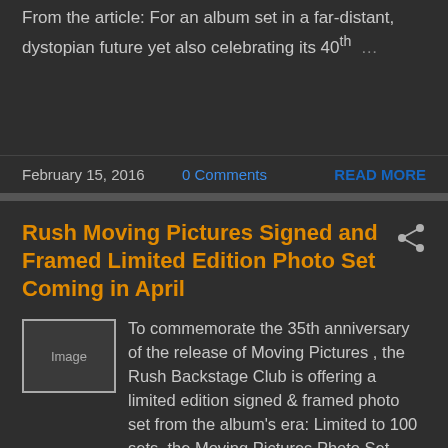From the article: For an album set in a far-distant, dystopian future yet also celebrating its 40th …
February 15, 2016   0 Comments   READ MORE
Rush Moving Pictures Signed and Framed Limited Edition Photo Set Coming in April
To commemorate the 35th anniversary of the release of Moving Pictures , the Rush Backstage Club is offering a limited edition signed & framed photo set from the album's era: Limited to 100 sets, the Moving Pictures Photo Set contains three iconic photograp…
February 14, 2016   4 Comments   READ MORE